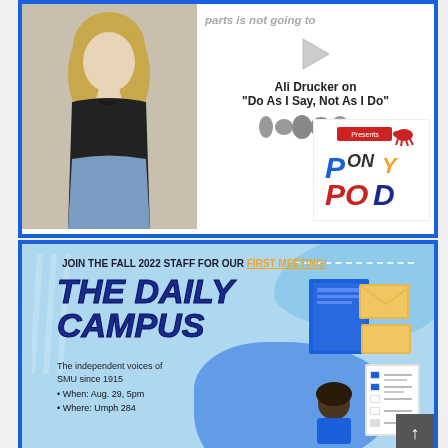[Figure (screenshot): Podcast player thumbnail showing a woman with blonde hair in a black top, with text 'Ali Drucker on Do As I Say, Not As I Do', a play button, audio waveform, and the Pony Pod podcast logo. Top text partially cut off reads 'parts is not going to'.]
[Figure (infographic): Promotional flyer for The Daily Campus first meeting of Fall 2022. Light blue background with decorative blobs. Text: 'JOIN THE FALL 2022 STAFF FOR OUR FIRST MEETING!', large bold italic title 'THE DAILY CAMPUS', tagline 'The independent voices of SMU since 1915', bullet points 'When: Aug. 29, 5pm' and 'Where: Umph 284'. Illustration of a person with documents/checklist on the right side.]